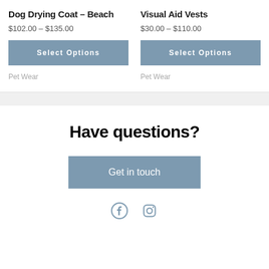Dog Drying Coat – Beach
$102.00 – $135.00
Select Options
Pet Wear
Visual Aid Vests
$30.00 – $110.00
Select Options
Pet Wear
Have questions?
Get in touch